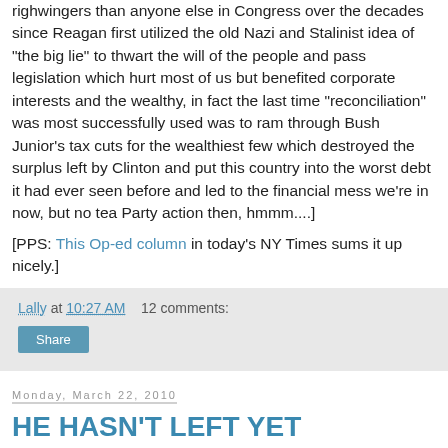righwingers than anyone else in Congress over the decades since Reagan first utilized the old Nazi and Stalinist idea of "the big lie" to thwart the will of the people and pass legislation which hurt most of us but benefited corporate interests and the wealthy, in fact the last time "reconciliation" was most successfully used was to ram through Bush Junior's tax cuts for the wealthiest few which destroyed the surplus left by Clinton and put this country into the worst debt it had ever seen before and led to the financial mess we're in now, but no tea Party action then, hmmm....]
[PPS: This Op-ed column in today's NY Times sums it up nicely.]
Lally at 10:27 AM   12 comments:
Share
Monday, March 22, 2010
HE HASN'T LEFT YET